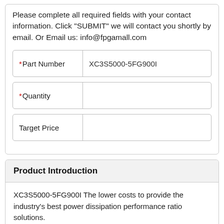Please complete all required fields with your contact information. Click "SUBMIT" we will contact you shortly by email. Or Email us: info@fpgamall.com
| *Part Number | XC3S5000-5FG900I |
| *Quantity |  |
| Target Price |  |
Product Introduction
XC3S5000-5FG900I The lower costs to provide the industry's best power dissipation performance ratio solutions.
XILINX Unique high-performance, heterogeneous and